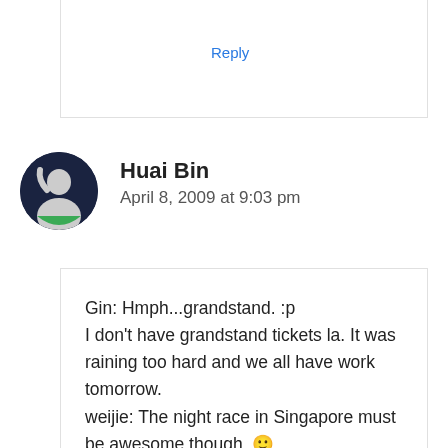Reply
Huai Bin
April 8, 2009 at 9:03 pm
Gin: Hmph...grandstand. :p
I don't have grandstand tickets la. It was raining too hard and we all have work tomorrow.
weijie: The night race in Singapore must be awesome though. 🙂
YilingL: You can take the bus. My hair is back to black dy. I colored it on Sunday.